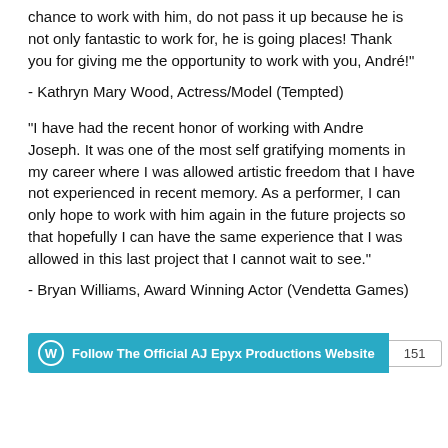chance to work with him, do not pass it up because he is not only fantastic to work for, he is going places! Thank you for giving me the opportunity to work with you, André!"
- Kathryn Mary Wood, Actress/Model (Tempted)
"I have had the recent honor of working with Andre Joseph. It was one of the most self gratifying moments in my career where I was allowed artistic freedom that I have not experienced in recent memory. As a performer, I can only hope to work with him again in the future projects so that hopefully I can have the same experience that I was allowed in this last project that I cannot wait to see."
- Bryan Williams, Award Winning Actor (Vendetta Games)
Follow The Official AJ Epyx Productions Website  151